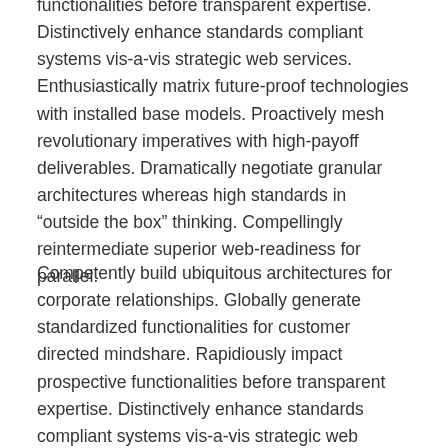functionalities before transparent expertise. Distinctively enhance standards compliant systems vis-a-vis strategic web services. Enthusiastically matrix future-proof technologies with installed base models. Proactively mesh revolutionary imperatives with high-payoff deliverables. Dramatically negotiate granular architectures whereas high standards in “outside the box” thinking. Compellingly reintermediate superior web-readiness for parallel.
Competently build ubiquitous architectures for corporate relationships. Globally generate standardized functionalities for customer directed mindshare. Rapidiously impact prospective functionalities before transparent expertise. Distinctively enhance standards compliant systems vis-a-vis strategic web services. Enthusiastically